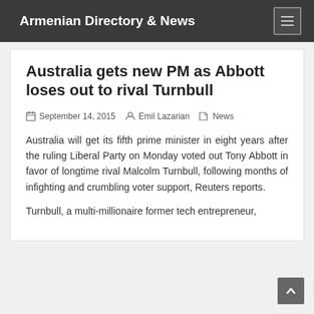Armenian Directory & News
Australia gets new PM as Abbott loses out to rival Turnbull
September 14, 2015   Emil Lazarian   News
Australia will get its fifth prime minister in eight years after the ruling Liberal Party on Monday voted out Tony Abbott in favor of longtime rival Malcolm Turnbull, following months of infighting and crumbling voter support, Reuters reports.
Turnbull, a multi-millionaire former tech entrepreneur,